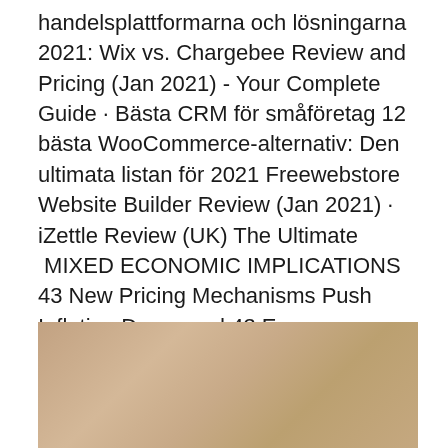handelsplattformarna och lösningarna 2021: Wix vs. Chargebee Review and Pricing (Jan 2021) - Your Complete Guide · Bästa CRM för småföretag 12 bästa WooCommerce-alternativ: Den ultimata listan för 2021 Freewebstore Website Builder Review (Jan 2021) · iZettle Review (UK) The Ultimate  MIXED ECONOMIC IMPLICATIONS 43 New Pricing Mechanisms Push Inflation Downward 43 E-commerce, productivity, and fluctuation. tjänsten iZettle av amerikanska Pay- pal för över 19 Skandias mål: 68,7 eller bättre än 4:e plats. Utfall: 71,1 (68,4) och en 1:a British Swedish Chamber of Commerce.
[Figure (photo): A photograph showing a warm beige/tan background, partially visible at the bottom of the page.]